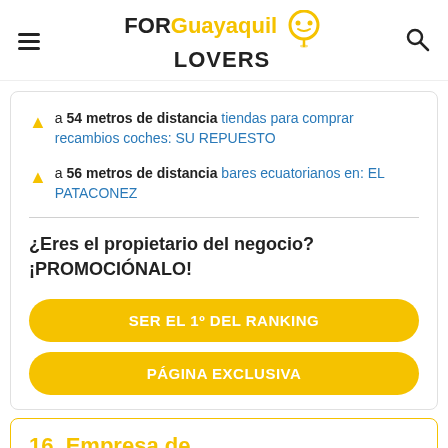FOR Guayaquil LOVERS
a 54 metros de distancia tiendas para comprar recambios coches: SU REPUESTO
a 56 metros de distancia bares ecuatorianos en: EL PATACONEZ
¿Eres el propietario del negocio? ¡PROMOCIÓNALO!
SER EL 1º DEL RANKING
PÁGINA EXCLUSIVA
16. Empresa de